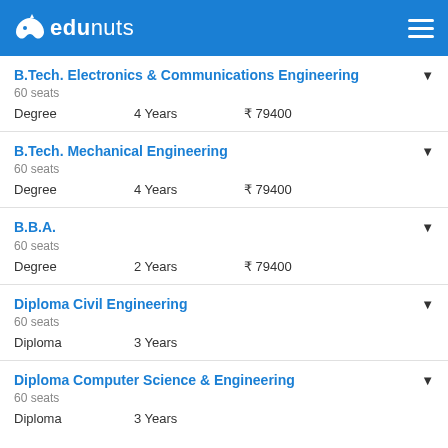edunuts
B.Tech. Electronics & Communications Engineering
60 seats
Degree  4 Years  ₹ 79400
B.Tech. Mechanical Engineering
60 seats
Degree  4 Years  ₹ 79400
B.B.A.
60 seats
Degree  2 Years  ₹ 79400
Diploma Civil Engineering
60 seats
Diploma  3 Years
Diploma Computer Science & Engineering
60 seats
Diploma  3 Years